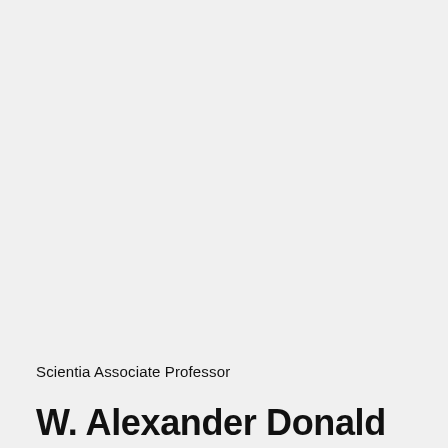Scientia Associate Professor
W. Alexander Donald